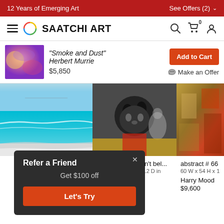12 Years of Emerging Art | See Offers (2)
[Figure (screenshot): Saatchi Art navigation bar with hamburger menu, logo, search, cart, and user icons]
[Figure (photo): Painting thumbnail of Smoke and Dust by Herbert Murrie, colorful abstract]
"Smoke and Dust"
Herbert Murrie
$5,850
Add to Cart
Make an Offer
[Figure (photo): Painting of beach/ocean scene with turquoise water]
[Figure (photo): Painting of a cat in dark tones with figures in background]
[Figure (photo): Abstract painting #66 with red and gold tones]
The Ocean doesn't bel...
78.7 W x 39.4 H x 1.2 D in

Iryna Yermolova
$10,640
abstract # 66
60 W x 54 H x 1

Harry Mood
$9,600
Refer a Friend
Get $100 off
Let's Try